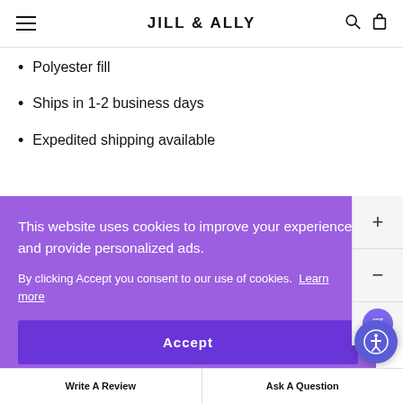JILL & ALLY
Polyester fill
Ships in 1-2 business days
Expedited shipping available
This website uses cookies to improve your experience and provide personalized ads.
By clicking Accept you consent to our use of cookies. Learn more
Accept
Write A Review   Ask A Question